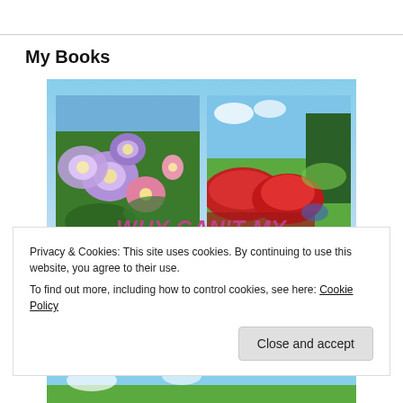My Books
[Figure (illustration): Book cover image for 'Why Can't My Garden...' showing colorful garden flowers on left, manicured garden with red flowers on right, against a blue sky background. Title text reads 'WHY CAN'T MY' in pink italic and 'GARDEN' in large red floral letters.]
Privacy & Cookies: This site uses cookies. By continuing to use this website, you agree to their use.
To find out more, including how to control cookies, see here: Cookie Policy
[Figure (photo): Partial bottom strip showing a garden scene with blue sky]